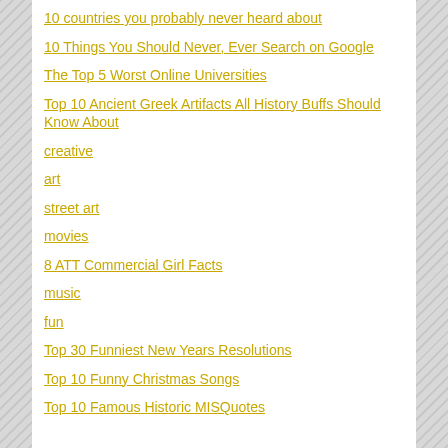10 countries you probably never heard about
10 Things You Should Never, Ever Search on Google
The Top 5 Worst Online Universities
Top 10 Ancient Greek Artifacts All History Buffs Should Know About
creative
art
street art
movies
8 ATT Commercial Girl Facts
music
fun
Top 30 Funniest New Years Resolutions
Top 10 Funny Christmas Songs
Top 10 Famous Historic MISQuotes